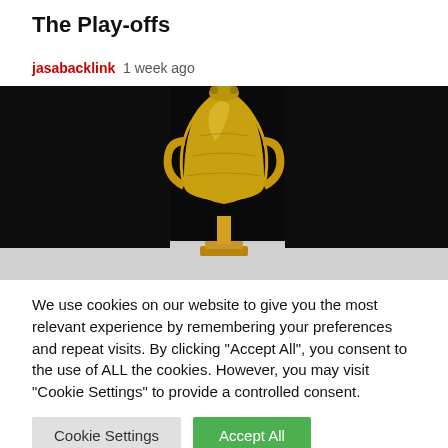The Play-offs
jasabacklink  1 week ago
[Figure (photo): A gold World Cup trophy centered against a dark/black background with grey gradient at the bottom.]
We use cookies on our website to give you the most relevant experience by remembering your preferences and repeat visits. By clicking "Accept All", you consent to the use of ALL the cookies. However, you may visit "Cookie Settings" to provide a controlled consent.
Cookie Settings   Accept All